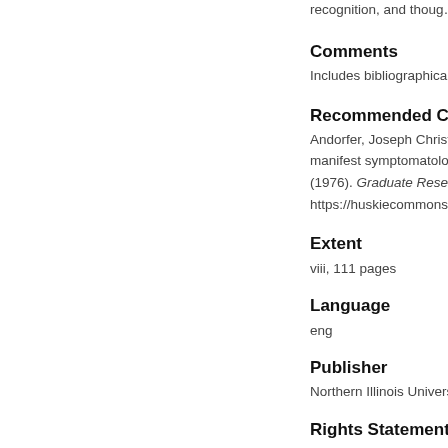recognition, and thoug…
Comments
Includes bibliographical r…
Recommended Citati…
Andorfer, Joseph Christian, "Th… manifest symptomatology to a… (1976). Graduate Research The… https://huskiecommons.lib.niu…
Extent
viii, 111 pages
Language
eng
Publisher
Northern Illinois University
Rights Statement
In Copyright
Rights Statement 2
NIU theses are protected… Commons for any purpos…